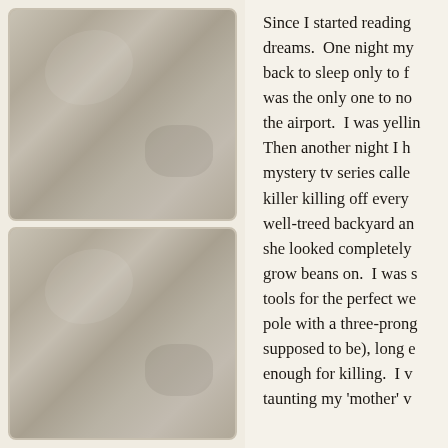[Figure (photo): Two photographs stacked vertically on the left side of the page. Both show a plain grey/beige textured surface — possibly a tile, stone, or plaster wall — with mottled light and dark tones. Each photo is bordered with a rounded rectangular frame.]
Since I started reading dreams.  One night my back to sleep only to f was the only one to no the airport.  I was yellin Then another night I h mystery tv series calle killer killing off every well-treed backyard an she looked completely grow beans on.  I was s tools for the perfect we pole with a three-prong supposed to be), long e enough for killing.  I v taunting my 'mother' v